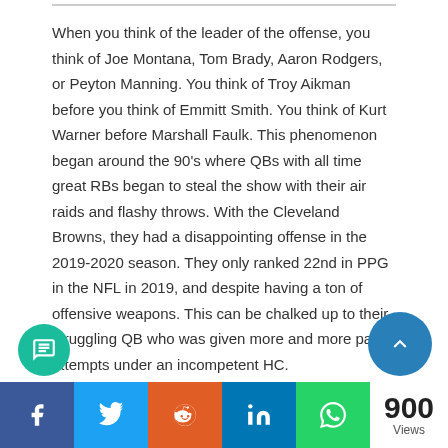When you think of the leader of the offense, you think of Joe Montana, Tom Brady, Aaron Rodgers, or Peyton Manning. You think of Troy Aikman before you think of Emmitt Smith. You think of Kurt Warner before Marshall Faulk. This phenomenon began around the 90's where QBs with all time great RBs began to steal the show with their air raids and flashy throws. With the Cleveland Browns, they had a disappointing offense in the 2019-2020 season. They only ranked 22nd in PPG in the NFL in 2019, and despite having a ton of offensive weapons. This can be chalked up to their struggling QB who was given more and more pass attempts under an incompetent HC.
They had a poor offense, yet their brightspot, Nick Chu...
900 Views